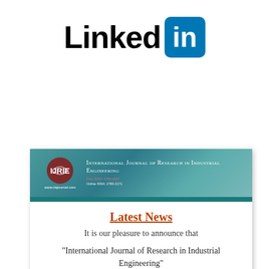[Figure (logo): LinkedIn logo with black 'Linked' text and blue rounded square with white 'in' text]
[Figure (screenshot): International Journal of Research in Industrial Engineering journal header with teal background, gear logo, and journal title in small caps]
Latest News
It is our pleasure to announce that
"International Journal of Research in Industrial Engineering"